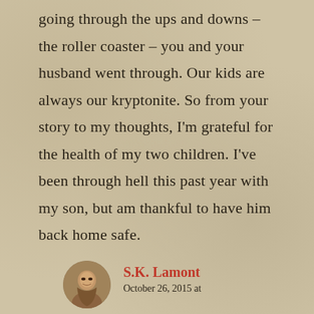going through the ups and downs – the roller coaster – you and your husband went through. Our kids are always our kryptonite. So from your story to my thoughts, I'm grateful for the health of my two children. I've been through hell this past year with my son, but am thankful to have him back home safe.
S.K. Lamont
October 26, 2015 at